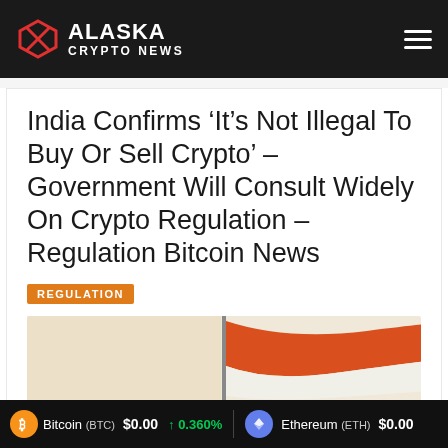Alaska Crypto News
India Confirms ‘It’s Not Illegal To Buy Or Sell Crypto’ – Government Will Consult Widely On Crypto Regulation – Regulation Bitcoin News
REGULATION
[Figure (photo): Partial view of an orange and white flag (Indian flag) on a flagpole against a light background]
Bitcoin (BTC) $0.00 ↑ 0.360% | Ethereum (ETH) $0.00